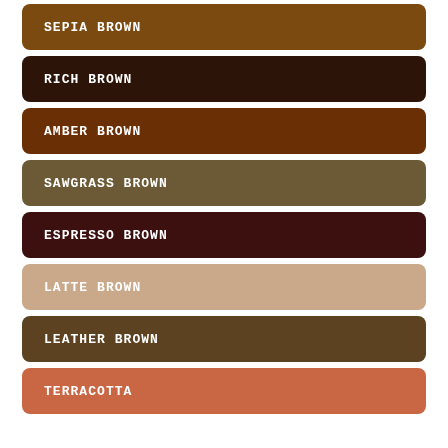[Figure (infographic): Color palette swatches showing 8 shades of brown and terracotta, each as a rounded rectangle with the color name in bold white monospace text. Colors listed top to bottom: Sepia Brown, Rich Brown, Amber Brown, Sawgrass Brown, Espresso Brown, Latte Brown, Leather Brown, Terracotta.]